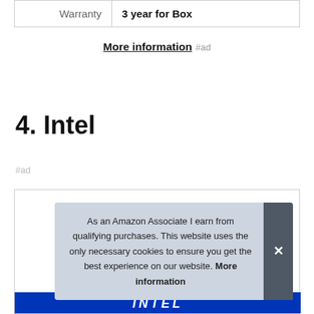|  |  |
| --- | --- |
| Warranty | 3 year for Box |
More information #ad
4. Intel
#ad
As an Amazon Associate I earn from qualifying purchases. This website uses the only necessary cookies to ensure you get the best experience on our website. More information
[Figure (logo): Intel logo banner in blue]